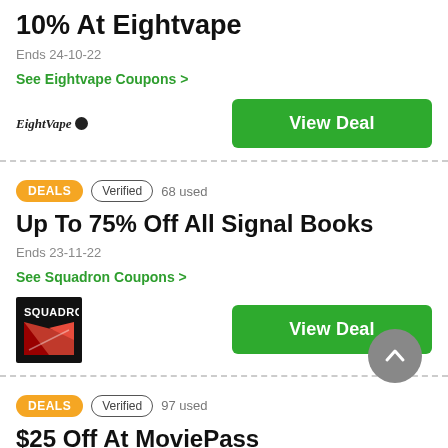10% At Eightvape
Ends 24-10-22
See Eightvape Coupons >
View Deal
DEALS  Verified  68 used
Up To 75% Off All Signal Books
Ends 23-11-22
See Squadron Coupons >
[Figure (logo): Squadron brand logo — black background with red and white aircraft silhouette]
View Deal
DEALS  Verified  97 used
$25 Off At MoviePass